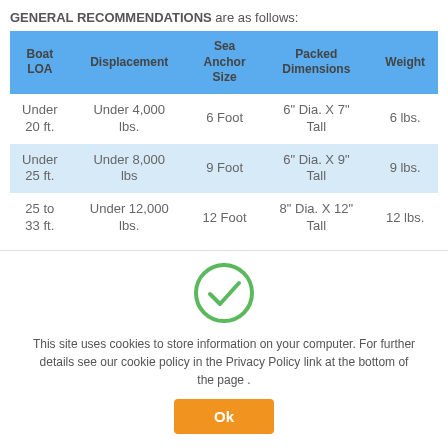GENERAL RECOMMENDATIONS are as follows:
| Boat LOA | Displacement | Sea Anchor Size | Packed Dimensions | Weight |
| --- | --- | --- | --- | --- |
| Under 20 ft. | Under 4,000 lbs. | 6 Foot | 6" Dia. X 7" Tall | 6 lbs. |
| Under 25 ft. | Under 8,000 lbs | 9 Foot | 6" Dia. X 9" Tall | 9 lbs. |
| 25 to 33 ft. | Under 12,000 lbs. | 12 Foot | 8" Dia. X 12" Tall | 12 lbs. |
[Figure (illustration): Green circle checkmark icon]
This site uses cookies to store information on your computer. For further details see our cookie policy in the Privacy Policy link at the bottom of the page .